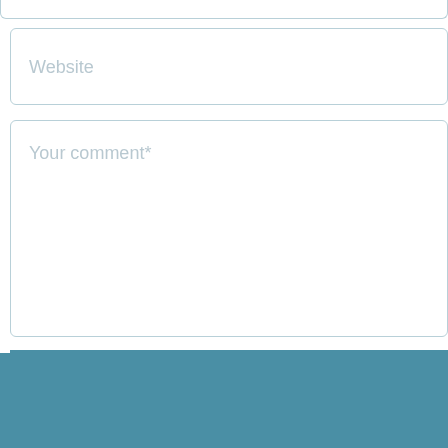[Figure (screenshot): Partial top input field box at top of page, cropped]
Website
Your comment*
SUBMIT COMMENT
[Figure (screenshot): Teal/blue-grey footer bar at bottom of page]